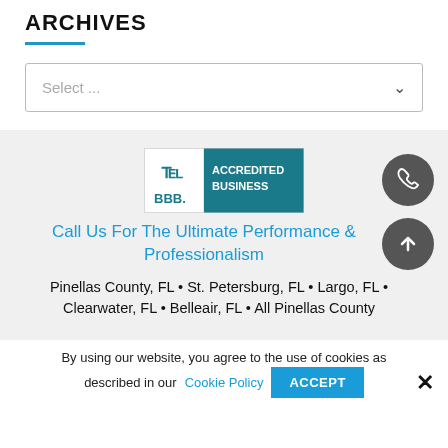ARCHIVES
Select ...
[Figure (logo): BBB Accredited Business badge — teal background with BBB logo and text 'ACCREDITED BUSINESS']
Call Us For The Ultimate Performance & Professionalism
Pinellas County, FL • St. Petersburg, FL • Largo, FL • Clearwater, FL • Belleair, FL • All Pinellas County
By using our website, you agree to the use of cookies as described in our Cookie Policy
ACCEPT